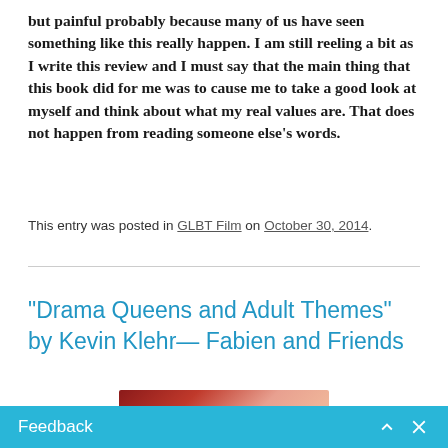but painful probably because many of us have seen something like this really happen. I am still reeling a bit as I write this review and I must say that the main thing that this book did for me was to cause me to take a good look at myself and think about what my real values are. That does not happen from reading someone else's words.
This entry was posted in GLBT Film on October 30, 2014.
“Drama Queens and Adult Themes” by Kevin Klehr— Fabien and Friends
[Figure (photo): Partial image of a person, appears reddish toned photograph, bottom portion visible]
Feedback